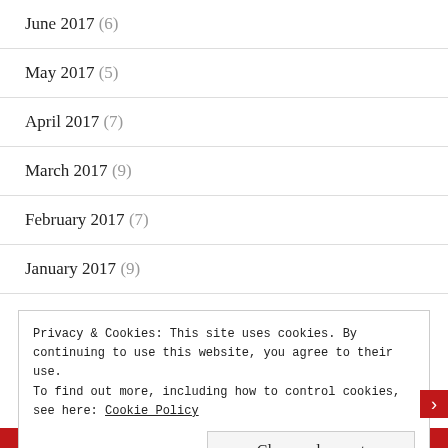June 2017 (6)
May 2017 (5)
April 2017 (7)
March 2017 (9)
February 2017 (7)
January 2017 (9)
December 2016 (8)
Privacy & Cookies: This site uses cookies. By continuing to use this website, you agree to their use.
To find out more, including how to control cookies, see here: Cookie Policy
Close and accept